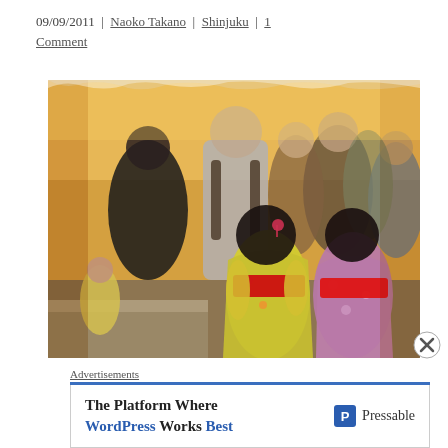09/09/2011 | Naoko Takano | Shinjuku | 1 Comment
[Figure (photo): Crowd scene at an outdoor Japanese festival. In the foreground, two young girls wearing colorful yukata (traditional Japanese summer robes) with red obi sashes are seen from behind. Behind them is a busy crowd of adults and children at what appears to be a summer festival or market event with tables and vendor stalls.]
Advertisements
The Platform Where WordPress Works Best | Pressable